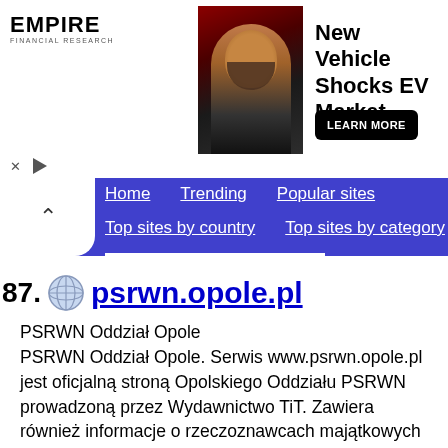[Figure (screenshot): Advertisement banner for Empire Financial Research featuring a man with a beard against a dark red background, with text 'New Vehicle Shocks EV Market' and a 'LEARN MORE' button]
[Figure (screenshot): Website navigation bar with blue background showing links: Home, Trending, Popular sites, Top sites by country, Top sites by category]
87. psrwn.opole.pl
PSRWN Oddział Opole
PSRWN Oddział Opole. Serwis www.psrwn.opole.pl jest oficjalną stroną Opolskiego Oddziału PSRWN prowadzoną przez Wydawnictwo TiT. Zawiera również informacje o rzeczoznawcach majątkowych świadczących usługi w zakresie szacowania wartości nieruchomości.
Author: Leszek Nocoń; Tit